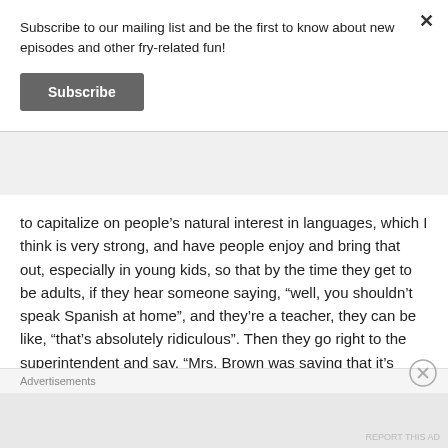Subscribe to our mailing list and be the first to know about new episodes and other fry-related fun!
Subscribe
to capitalize on people's natural interest in languages, which I think is very strong, and have people enjoy and bring that out, especially in young kids, so that by the time they get to be adults, if they hear someone saying, “well, you shouldn’t speak Spanish at home”, and they’re a teacher, they can be like, “that’s absolutely ridiculous”. Then they go right to the superintendent and say, “Mrs. Brown was saying that it’s dangerous to speak Spanish!
Advertisements